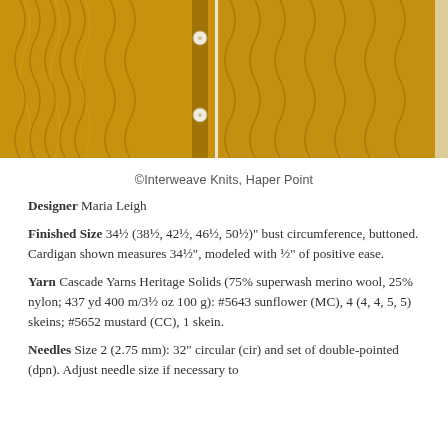[Figure (photo): Close-up photo of a golden mustard-colored cable knit cardigan with buttons visible on the left side, shown in two panels]
©Interweave Knits, Haper Point
Designer Maria Leigh
Finished Size 34½ (38½, 42½, 46½, 50½)" bust circumference, buttoned. Cardigan shown measures 34½", modeled with ½" of positive ease.
Yarn Cascade Yarns Heritage Solids (75% superwash merino wool, 25% nylon; 437 yd 400 m/3½ oz 100 g): #5643 sunflower (MC), 4 (4, 4, 5, 5) skeins; #5652 mustard (CC), 1 skein.
Needles Size 2 (2.75 mm): 32" circular (cir) and set of double-pointed (dpn). Adjust needle size if necessary to